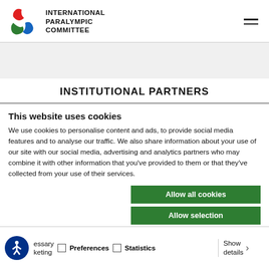INTERNATIONAL PARALYMPIC COMMITTEE
INSTITUTIONAL PARTNERS
This website uses cookies
We use cookies to personalise content and ads, to provide social media features and to analyse our traffic. We also share information about your use of our site with our social media, advertising and analytics partners who may combine it with other information that you've provided to them or that they've collected from your use of their services.
Allow all cookies
Allow selection
Use necessary cookies
Necessary  Preferences  Statistics  Show details  Marketing